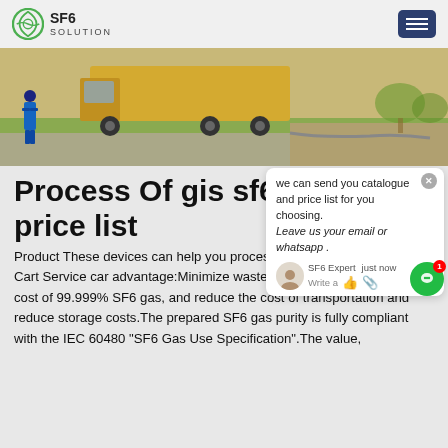SF6 SOLUTION
[Figure (photo): Outdoor scene with a yellow truck and a person standing near equipment on grass, with gravel in background]
Process Of gis sf6 price list
we can send you catalogue and price list for you choosing. Leave us your email or whatsapp .
Product These devices can help you process SF 6 gas SF6 Service Cart Service car advantage:Minimize waste disposal cost, reduce the cost of 99.999% SF6 gas, and reduce the cost of transportation and reduce storage costs.The prepared SF6 gas purity is fully compliant with the IEC 60480 "SF6 Gas Use Specification".The value,